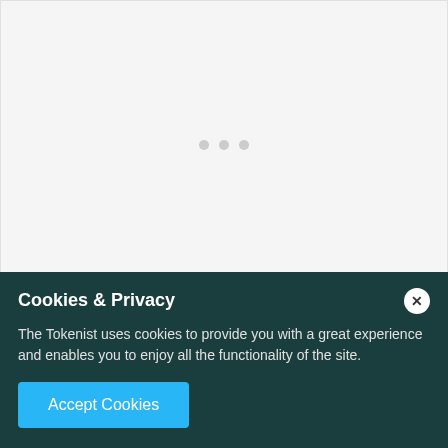[Figure (other): Loading placeholder area with three grey dots in the center on a light grey background]
On top of that, after-hours trading usually comes
Cookies & Privacy
The Tokenist uses cookies to provide you with a great experience and enables you to enjoy all the functionality of the site.
Accept Cookies